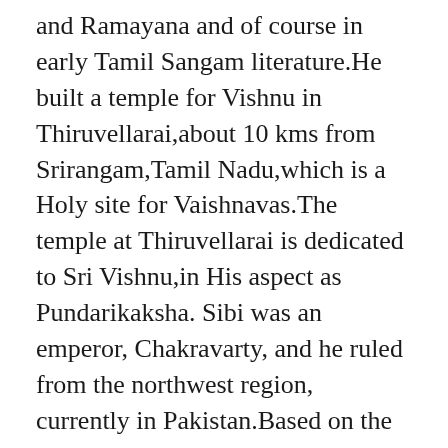and Ramayana and of course in early Tamil Sangam literature.He built a temple for Vishnu in Thiruvellarai,about 10 kms from Srirangam,Tamil Nadu,which is a Holy site for Vaishnavas.The temple at Thiruvellarai is dedicated to Sri Vishnu,in His aspect as Pundarikaksha. Sibi was an emperor, Chakravarty, and he ruled from the northwest region, currently in Pakistan.Based on the evidence available then , I arrived at the place as somewhere in NWFP in Pakistan or near the border of Pakistan and Afghanistan. People of that region still speak Tamil even today. I shall write on this later.